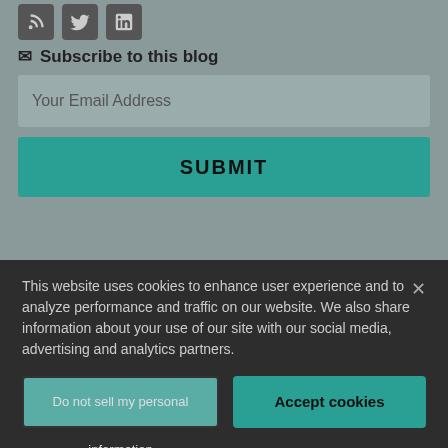[Figure (other): Social media icons: RSS feed, Twitter, LinkedIn]
✉ Subscribe to this blog
Your Email Address
SUBMIT
Topics
Select Category
This website uses cookies to enhance user experience and to analyze performance and traffic on our website. We also share information about your use of our site with our social media, advertising and analytics partners.
Do not sell my personal information
Accept cookies